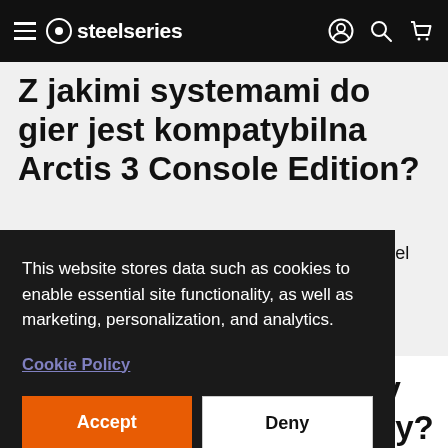steelseries
Z jakimi systemami do gier jest kompatybilna Arctis 3 Console Edition?
Arctis 3 Console Edition zawiera 4-stykowy kabel 3,5 mm, dzięki czemu jest kompatybilny ze wszystkimi głównymi konsolami, w tym
This website stores data such as cookies to enable essential site functionality, as well as marketing, personalization, and analytics.
Cookie Policy
Accept
Deny
etis 3 czy odłączany?